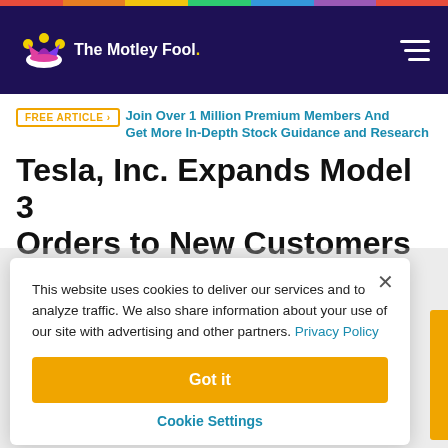The Motley Fool
FREE ARTICLE | Join Over 1 Million Premium Members And Get More In-Depth Stock Guidance and Research
Tesla, Inc. Expands Model 3 Orders to New Customers
This website uses cookies to deliver our services and to analyze traffic. We also share information about your use of our site with advertising and other partners. Privacy Policy
Got it
Cookie Settings